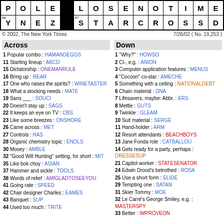[Figure (other): Crossword puzzle grid partial view showing bottom two rows: POLE[black]LOSENOTIME and YNEZ[black]STARCROSSD with clue numbers 66 and 67]
© 2002, The New York Times   7/26/02 ( No. 19,253 )
Across
Down
1 Popular combo : HAMANDEGGS
11 Starting lineup : ABCD
15 Dictatorship : ONEMANRULE
16 Bring up : REAR
17 One who raises the spirits? : WINETASTER
18 What a stocking needs : MATE
19 Sans ___ : SOUCI
20 Doesn't stay up : SAGS
22 It keeps an eye on TV : CBS
23 Like some breezes : ONSHORE
26 Came across : MET
27 Controls : HAS
28 Organic chemistry topic : ENOLS
30 Mosey : AMBLE
32 "Good Will Hunting" setting, for short : MIT
35 Like bok choy : ASIAN
37 Hammer and sickle : TOOLS
38 Words of relief : AMIGLADTOSEEYOU
41 Going rate : SPEED
42 Chair designer Charles : EAMES
43 Banquet : SUP
44 Used too much : TRITE
1 "Why?" : HOWSO
2 Cl-, e.g. : ANION
3 Computer application features : MENUS
4 "Cocoon" co-star : AMECHE
5 Something with a ceiling : NATIONALDEBT
6 Chain material : DNA
7 Lifesavers, maybe: Abbr. : ERS
8 Mettle : GUTS
9 Twinkle : GLEAM
10 Suit material : SERGE
11 Hand-holder : ARM
12 Resort attendants : BEACHBOYS
13 Jane Fonda role : CATBALLOU
14 Gets ready for a party, perhaps : DRESSESUP
21 Capitol worker : STATESENATOR
24 Edwin Drood's betrothed : ROSA
25 Use a short form : ELIDE
29 Tempting one : SATAN
31 Skier Tommy : MOE
32 Le Carré's George Smiley, e.g. : MASTERSPY
33 Better : IMPROVEON